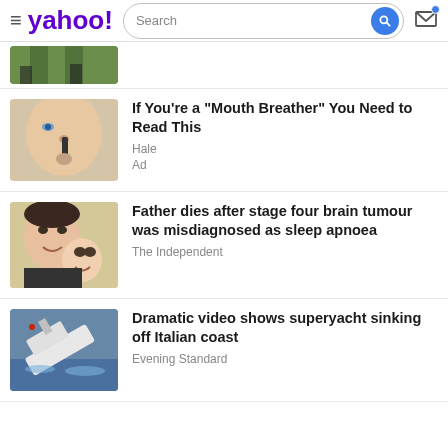yahoo! [Search bar] [Mail icon]
[Figure (photo): Partial news item thumbnail showing legs/green background, cropped at top of feed]
If You're a "Mouth Breather" You Need to Read This
Hale
Ad
Father dies after stage four brain tumour was misdiagnosed as sleep apnoea
The Independent
Dramatic video shows superyacht sinking off Italian coast
Evening Standard